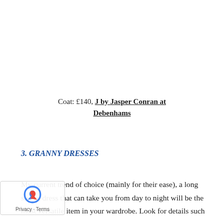Coat: £140, J by Jasper Conran at Debenhams
3. GRANNY DRESSES
My current trend of choice (mainly for their ease), a long sleeve dress that can take you from day to night will be the most versatile item in your wardrobe. Look for details such